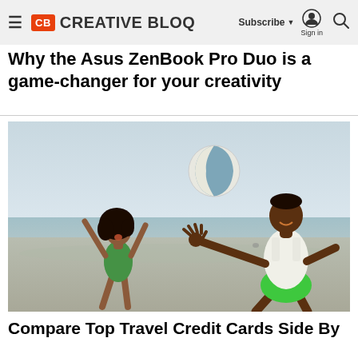Creative Bloq — Subscribe | Sign in | Search
Why the Asus ZenBook Pro Duo is a game-changer for your creativity
[Figure (photo): A man in green shorts and a white tank top and a young girl in a green swimsuit playing with a beach ball on a sandy beach. The ball is in the air between them. Bright, overcast sky beach setting.]
Compare Top Travel Credit Cards Side By